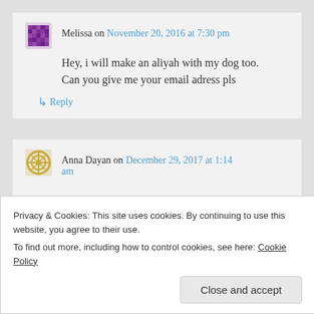Melissa on November 20, 2016 at 7:30 pm
Hey, i will make an aliyah with my dog too. Can you give me your email adress pls
↳ Reply
Anna Dayan on December 29, 2017 at 1:14 am
Privacy & Cookies: This site uses cookies. By continuing to use this website, you agree to their use. To find out more, including how to control cookies, see here: Cookie Policy
Close and accept